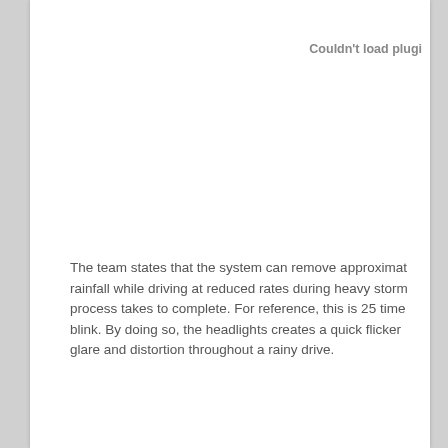Couldn't load plugin
The team states that the system can remove approximately rainfall while driving at reduced rates during heavy storm process takes to complete. For reference, this is 25 time blink. By doing so, the headlights creates a quick flicker glare and distortion throughout a rainy drive.